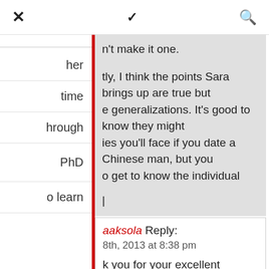✕  ✓  🔍
n't make it one.
tly, I think the points Sara brings up are true but e generalizations. It's good to know they might ies you'll face if you date a Chinese man, but you o get to know the individual
her
time
hrough
PhD
o learn
aaksola Reply:
8th, 2013 at 8:38 pm
k you for your excellent comment Rosie! You're the points I brought up are of course -alizations, if I couldn't generalize a little, then g this post would be impossible. No matter in